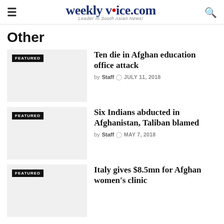weeklyvoice.com — Leader In South Asian News!
Other
[Figure (photo): Featured thumbnail placeholder for article: Ten die in Afghan education office attack]
Ten die in Afghan education office attack
by Staff  JULY 11, 2018
[Figure (photo): Featured thumbnail placeholder for article: Six Indians abducted in Afghanistan, Taliban blamed]
Six Indians abducted in Afghanistan, Taliban blamed
by Staff  MAY 7, 2018
[Figure (photo): Featured thumbnail placeholder for article: Italy gives $8.5mn for Afghan women's clinic]
Italy gives $8.5mn for Afghan women's clinic